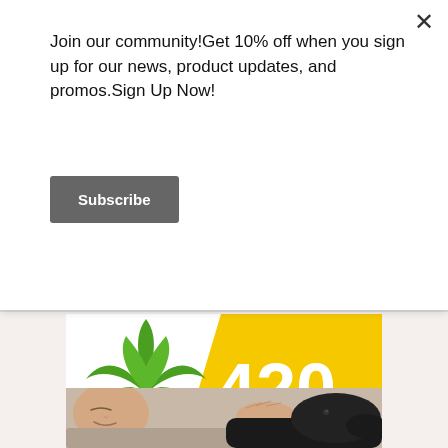Join our community!Get 10% off when you sign up for our news, product updates, and promos.Sign Up Now!
Subscribe
[Figure (illustration): Cannabis leaf on white background with yellow diagonal section showing '420 A HISTORY' in white text]
[Figure (photo): Person lying down smiling with eyes closed, resting hand on black dog's head]